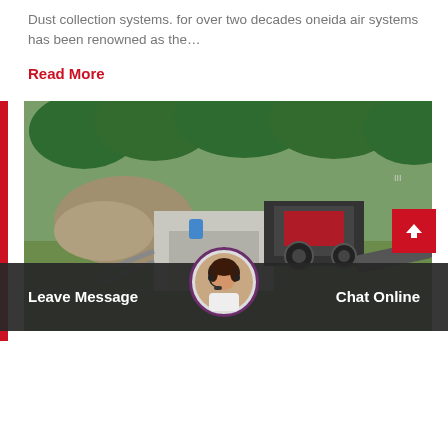Dust collection systems. for over two decades oneida air systems has been renowned as the…
Read More
[Figure (photo): Aerial view of an industrial mining or crushing site with a jaw crusher machine, concrete structure, piled rocks, green trees in the background, and a conveyor belt.]
Leave Message
Chat Online